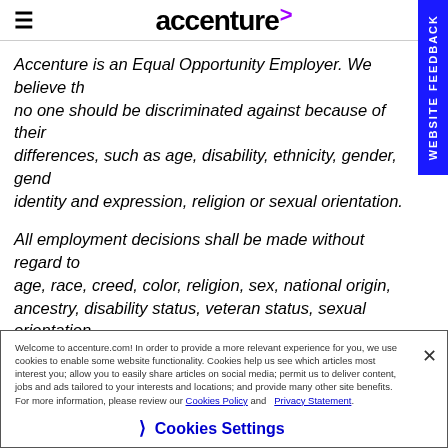accenture
Accenture is an Equal Opportunity Employer. We believe that no one should be discriminated against because of their differences, such as age, disability, ethnicity, gender, gender identity and expression, religion or sexual orientation.
All employment decisions shall be made without regard to age, race, creed, color, religion, sex, national origin, ancestry, disability status, veteran status, sexual orientation, gender identity or expression, genetic information, marital status, citizenship status or any other basis as protected by federal, state, or local law.
Welcome to accenture.com! In order to provide a more relevant experience for you, we use cookies to enable some website functionality. Cookies help us see which articles most interest you; allow you to easily share articles on social media; permit us to deliver content, jobs and ads tailored to your interests and locations; and provide many other site benefits. For more information, please review our Cookies Policy and Privacy Statement.
Cookies Settings